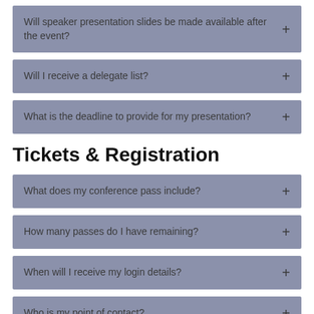Will speaker presentation slides be made available after the event?
Will I receive a delegate list?
What is the deadline to provide for my presentation?
Tickets & Registration
What does my conference pass include?
How many passes do I have remaining?
When will I receive my login details?
Who is my point of contact?